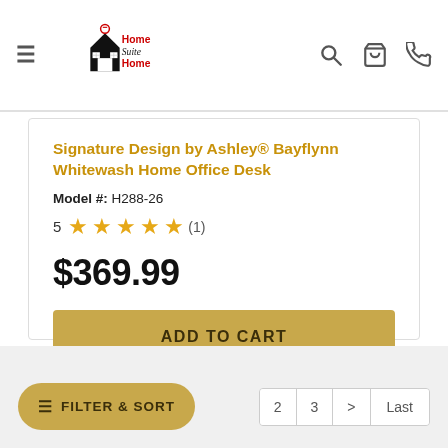Home Suite Home — navigation header with logo, search, cart, and phone icons
Signature Design by Ashley® Bayflynn Whitewash Home Office Desk
Model #: H288-26
5 ★★★★★ (1)
$369.99
ADD TO CART
COMPARE
FILTER & SORT | pagination: 2, 3, >, Last